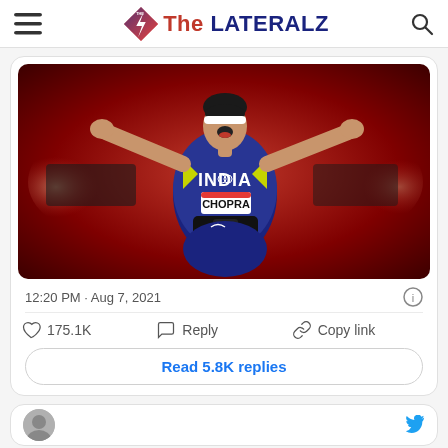The LATERALZ
[Figure (photo): Neeraj Chopra celebrating with arms raised wide, wearing India jersey with CHOPRA bib, white headband, at Tokyo Olympics javelin throw event]
12:20 PM · Aug 7, 2021
175.1K   Reply   Copy link
Read 5.8K replies
[Figure (photo): Partial bottom tweet card with avatar]